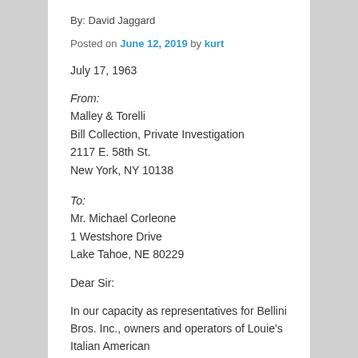By: David Jaggard
Posted on June 12, 2019 by kurt
July 17, 1963
From:
Malley & Torelli
Bill Collection, Private Investigation
2117 E. 58th St.
New York, NY 10138
To:
Mr. Michael Corleone
1 Westshore Drive
Lake Tahoe, NE 80229
Dear Sir:
In our capacity as representatives for Bellini Bros. Inc., owners and operators of Louie's Italian American